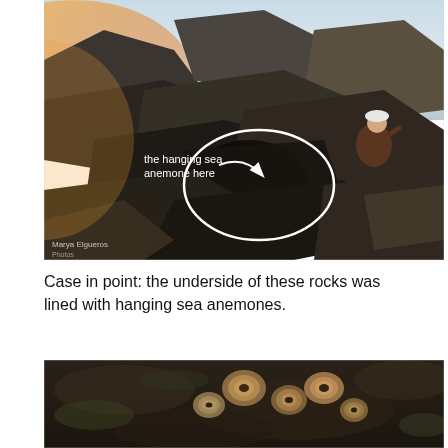[Figure (photo): Photo of large coastal rocks at low tide during golden hour. A white hand-drawn circle annotates a dark area between the rocks with an arrow pointing to it and white text reading 'the hanging sea anemone here'. A person in a dark shirt and white cap is visible at the right side examining the rocks. A watermark reads 'Marya Elgueros' in the lower left.]
Case in point: the underside of these rocks was lined with hanging sea anemones.
[Figure (photo): Close-up photo of the underside or surface of dark wet rocks showing several hanging sea anemones with tan/orange circular openings visible against the dark rocky substrate.]